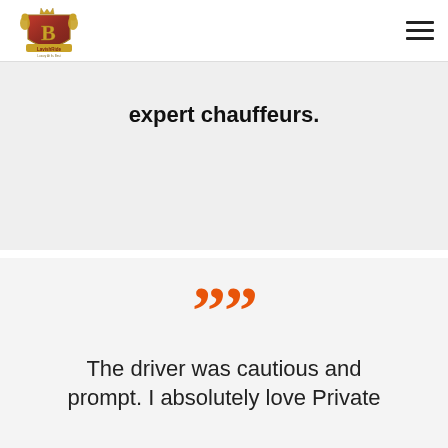[Figure (logo): LavishRide logo: red shield with gold letter B, two gold lions, crown on top, and banner text 'LavishRide' and 'Luxury At Its Best']
expert chauffeurs.
””
The driver was cautious and prompt. I absolutely love Private